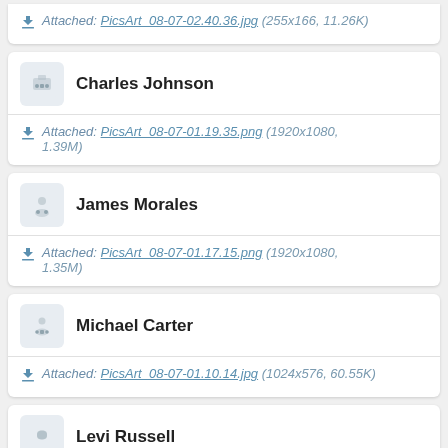Attached: PicsArt_08-07-02.40.36.jpg (255x166, 11.26K)
Charles Johnson
Attached: PicsArt_08-07-01.19.35.png (1920x1080, 1.39M)
James Morales
Attached: PicsArt_08-07-01.17.15.png (1920x1080, 1.35M)
Michael Carter
Attached: PicsArt_08-07-01.10.14.jpg (1024x576, 60.55K)
Levi Russell